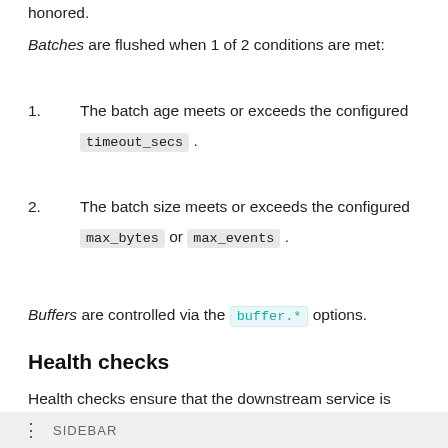honored.
Batches are flushed when 1 of 2 conditions are met:
1. The batch age meets or exceeds the configured timeout_secs .
2. The batch size meets or exceeds the configured max_bytes or max_events .
Buffers are controlled via the buffer.* options.
Health checks
Health checks ensure that the downstream service is accessible and ready to accept data. This check is performed upon sink initialization. If the health check
SIDEBAR